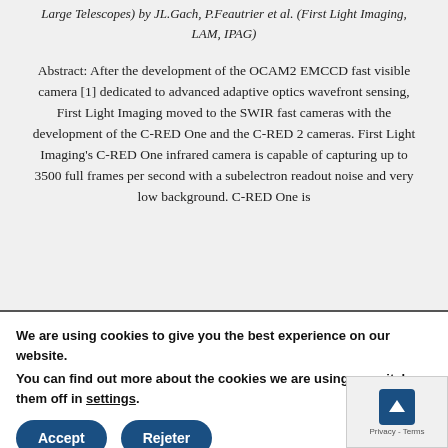Large Telescopes) by JL.Gach, P.Feautrier et al. (First Light Imaging, LAM, IPAG)
Abstract: After the development of the OCAM2 EMCCD fast visible camera [1] dedicated to advanced adaptive optics wavefront sensing, First Light Imaging moved to the SWIR fast cameras with the development of the C-RED One and the C-RED 2 cameras. First Light Imaging's C-RED One infrared camera is capable of capturing up to 3500 full frames per second with a subelectron readout noise and very low background. C-RED One is
We are using cookies to give you the best experience on our website.
You can find out more about the cookies we are using or switch them off in settings.